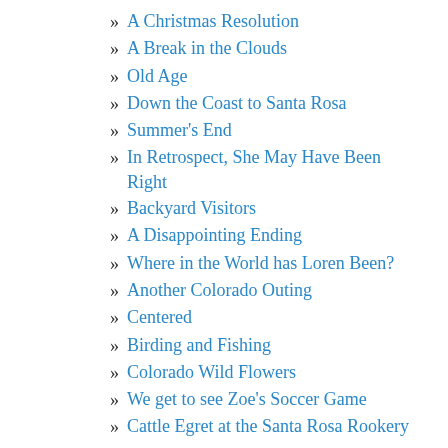» A Christmas Resolution
» A Break in the Clouds
» Old Age
» Down the Coast to Santa Rosa
» Summer's End
» In Retrospect, She May Have Been Right
» Backyard Visitors
» A Disappointing Ending
» Where in the World has Loren Been?
» Another Colorado Outing
» Centered
» Birding and Fishing
» Colorado Wild Flowers
» We get to see Zoe's Soccer Game
» Cattle Egret at the Santa Rosa Rookery